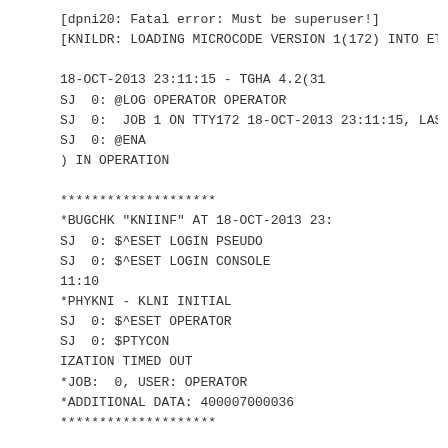[dpni20: Fatal error: Must be superuser!]
[KNILDR: LOADING MICROCODE VERSION 1(172) INTO ETH

18-OCT-2013 23:11:15 - TGHA 4.2(31
SJ  0: @LOG OPERATOR OPERATOR
SJ  0:  JOB 1 ON TTY172 18-OCT-2013 23:11:15, LAST
SJ  0: @ENA
) IN OPERATION

********************
*BUGCHK "KNIINF" AT 18-OCT-2013 23:
SJ  0: $^ESET LOGIN PSEUDO
SJ  0: $^ESET LOGIN CONSOLE
11:10
*PHYKNI - KLNI INITIAL
SJ  0: $^ESET OPERATOR
SJ  0: $PTYCON
IZATION TIMED OUT
*JOB:  0, USER: OPERATOR
*ADDITIONAL DATA: 400007000036
********************

********************
*BUGCHK "KNIRLF" AT 18-OCT-2013 23:11:15